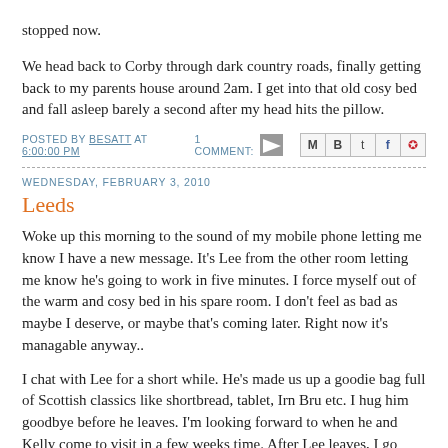stopped now.
We head back to Corby through dark country roads, finally getting back to my parents house around 2am. I get into that old cosy bed and fall asleep barely a second after my head hits the pillow.
POSTED BY BESATT AT 6:00:00 PM   1 COMMENT:
WEDNESDAY, FEBRUARY 3, 2010
Leeds
Woke up this morning to the sound of my mobile phone letting me know I have a new message. It's Lee from the other room letting me know he's going to work in five minutes. I force myself out of the warm and cosy bed in his spare room. I don't feel as bad as maybe I deserve, or maybe that's coming later. Right now it's managable anyway..
I chat with Lee for a short while. He's made us up a goodie bag full of Scottish classics like shortbread, tablet, Irn Bru etc. I hug him goodbye before he leaves. I'm looking forward to when he and Kelly come to visit in a few weeks time. After Lee leaves, I go back to bed for a while, stepping over Jon, who is curled up, snoring on the hall way floor, on the way. I get the feeling we're not going to be